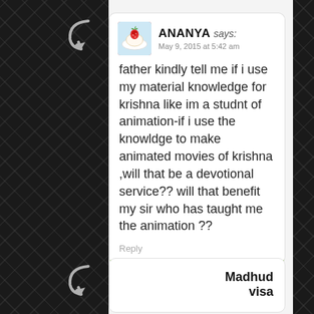[Figure (screenshot): Blog comment section screenshot showing two user comments on a dark patterned background. First comment by ANANYA, dated May 9, 2015 at 5:42 am, asking about using animation skills for Krishna devotional service. Second comment by Madhud visa visible at the bottom.]
ANANYA says: May 9, 2015 at 5:42 am
father kindly tell me if i use my material knowledge for krishna like im a studnt of animation-if i use the knowldge to make animated movies of krishna ,will that be a devotional service?? will that benefit my sir who has taught me the animation ??
Reply
Madhud visa